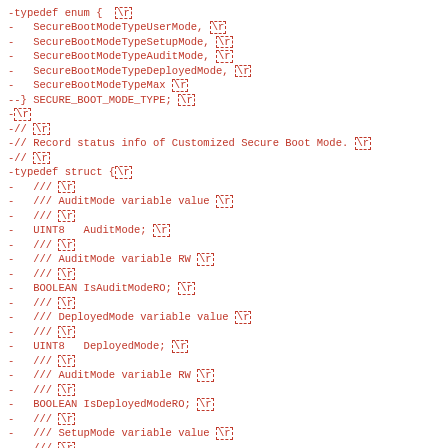[Figure (screenshot): Source code diff showing a typedef enum for SECURE_BOOT_MODE_TYPE and a typedef struct with fields AuditMode, IsAuditModeRO, DeployedMode, IsDeployedModeRO, SetupMode, all in red monospace font indicating removed lines in a diff, with \r line endings shown as dashed boxes]